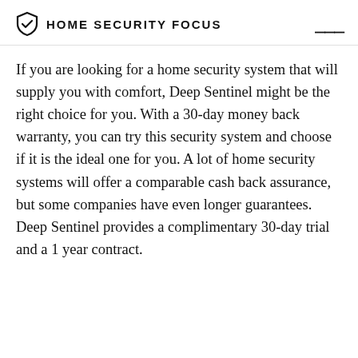HOME SECURITY FOCUS
If you are looking for a home security system that will supply you with comfort, Deep Sentinel might be the right choice for you. With a 30-day money back warranty, you can try this security system and choose if it is the ideal one for you. A lot of home security systems will offer a comparable cash back assurance, but some companies have even longer guarantees. Deep Sentinel provides a complimentary 30-day trial and a 1 year contract.